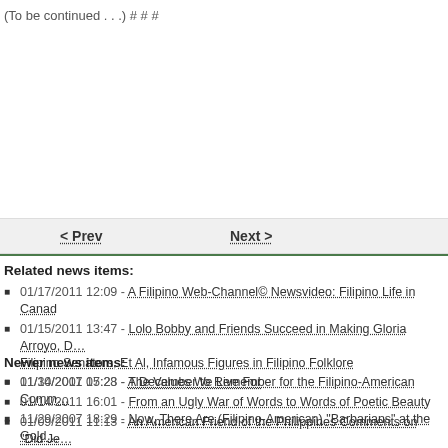(To be continued . . .)  # # #
< Prev    Next >
Related news items:
01/17/2011 12:09 - A Filipino Web-Channel© Newsvideo: Filipino Life in Canad…
01/15/2011 13:47 - Lolo Bobby and Friends Succeed in Making Gloria Arroyo, D… Filipino Senators, Et Al, Infamous Figures in Filipino Folklore
01/14/2011 17:28 - The Values We Live For
01/14/2011 16:01 - From an Ugly War of Words to Words of Poetic Beauty
01/09/2011 11:13 - An American Friend of the Philippines Comments on "Did Je… 'Plagiarize' Alexandre Dumas' The Count of Monte Cristo?"
Newer news items:
11/30/2007 05:23 - A December to Remember for the Filipino-American Comm…
11/29/2007 18:29 - Now, There Are (Filipino-American) "Barbarians" at the Gold…
11/08/2007 05:11 - The NaFFAA Is Bankrupt Not Only Financially But Also Intel…
11/06/2007 16:59 - The Barbarians at the NaFFAAgate
10/21/2007 05:21 - A "Love Letter" to Apo Ernie and Other Fil-Am Leaders Abor… and Filipino Defendants